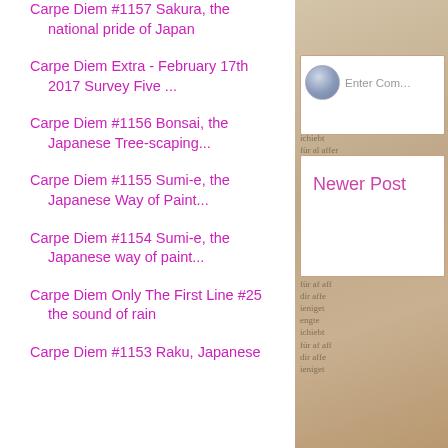Carpe Diem #1157 Sakura, the national pride of Japan
Carpe Diem Extra - February 17th 2017 Survey Five ...
Carpe Diem #1156 Bonsai, the Japanese Tree-scaping...
Carpe Diem #1155 Sumi-e, the Japanese Way of Paint...
Carpe Diem #1154 Sumi-e, the Japanese way of paint...
Carpe Diem Only The First Line #25 the sound of rain
Carpe Diem #1153 Raku, Japanese
[Figure (screenshot): Right panel showing a comment entry area with avatar icon and 'Enter Com...' placeholder text, plus a 'Newer Post' navigation button, all overlaid on a blurred vintage book/text background image.]